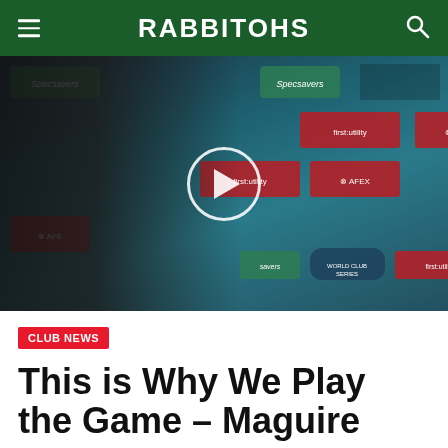RABBITOHS
[Figure (photo): Video thumbnail showing a man in a South Sydney Rabbitohs jacket being interviewed in front of sponsor backdrop featuring Specsavers, first:utility, AFEX, and World Club Series logos. A play button circle overlay is centered on the image.]
CLUB NEWS
This is Why We Play the Game – Maguire